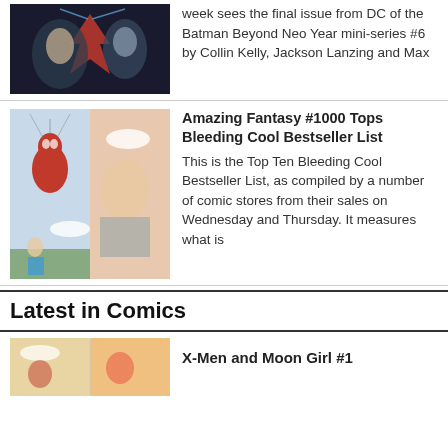[Figure (photo): Batman Beyond Neo Year comic cover art showing characters with red and black bat symbol]
week sees the final issue from DC of the Batman Beyond Neo Year mini-series #6 by Collin Kelly, Jackson Lanzing and Max
[Figure (photo): Amazing Fantasy #1000 comic interior pages showing Spider-Man and characters in a park]
Amazing Fantasy #1000 Tops Bleeding Cool Bestseller List
This is the Top Ten Bleeding Cool Bestseller List, as compiled by a number of comic stores from their sales on Wednesday and Thursday. It measures what is
Latest in Comics
[Figure (photo): X-Men and Moon Girl #1 comic art]
X-Men and Moon Girl #1